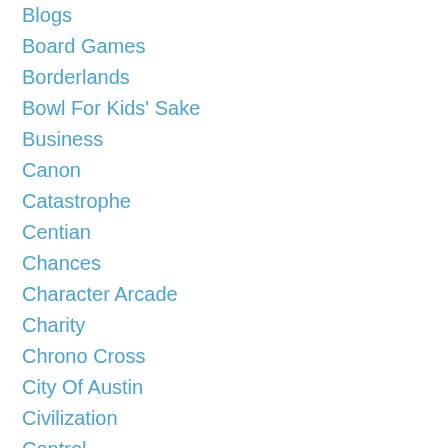Blogs
Board Games
Borderlands
Bowl For Kids' Sake
Business
Canon
Catastrophe
Centian
Chances
Character Arcade
Charity
Chrono Cross
City Of Austin
Civilization
Control
Creation
Cristian Cantú
Daddy Issues
David Cage
Death
Deserts Of Mars